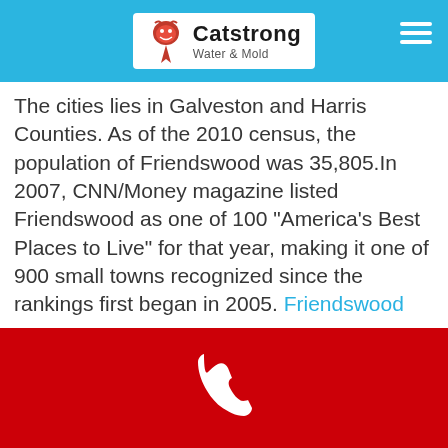Catstrong Water & Mold
The cities lies in Galveston and Harris Counties. As of the 2010 census, the population of Friendswood was 35,805.In 2007, CNN/Money magazine listed Friendswood as one of 100 "America's Best Places to Live" for that year, making it one of 900 small towns recognized since the rankings first began in 2005. Friendswood
[Figure (map): Outline map of Texas showing county boundaries, black-and-white line drawing]
Phone contact button